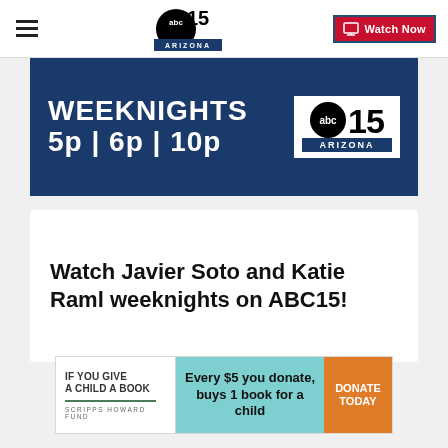ABC15 Arizona — Watch Now
[Figure (screenshot): ABC15 Arizona weeknights banner: WEEKNIGHTS 5p | 6p | 10p with ABC15 Arizona logo on dark blue background]
Watch Javier Soto and Katie Raml weeknights on ABC15!
[Figure (infographic): Scripps Howard Fund 'If You Give A Child A Book' advertisement: Every $5 you donate, buys 1 book for a child. DONATE TODAY button.]